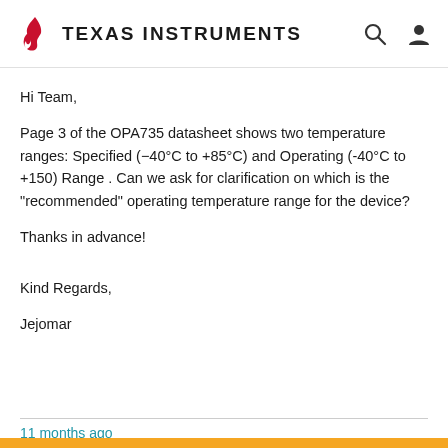Texas Instruments
Hi Team,
Page 3 of the OPA735 datasheet shows two temperature ranges: Specified (−40°C to +85°C) and Operating (-40°C to +150) Range . Can we ask for clarification on which is the "recommended" operating temperature range for the device?
Thanks in advance!
Kind Regards,
Jejomar
11 months ago